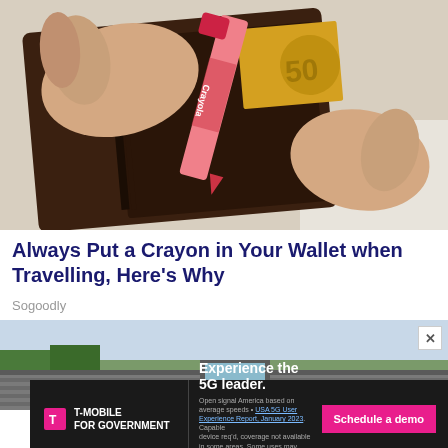[Figure (photo): Hands holding open a brown leather wallet containing a pink Crayola crayon and what appears to be a euro banknote inside]
Always Put a Crayon in Your Wallet when Travelling, Here's Why
Sogoodly
[Figure (photo): Advertisement banner showing a rooftop/house image with a T-Mobile for Government ad promoting 5G with a 'Schedule a demo' call to action button and fine print disclaimer text]